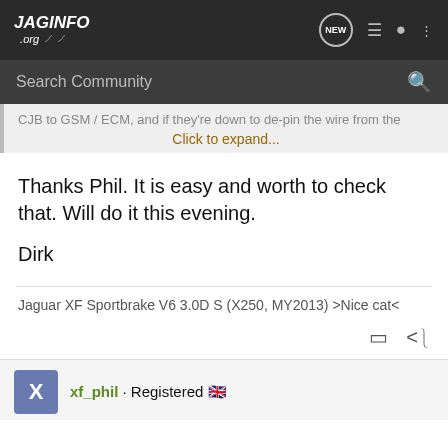JAGINFO.org — navigation bar with NEW, list, user, and menu icons
Search Community
CJB to GSM / ECM, and if they're down to de-pin the wire from the
Click to expand...
Thanks Phil. It is easy and worth to check that. Will do it this evening.

Dirk
Jaguar XF Sportbrake V6 3.0D S (X250, MY2013) >Nice cat<
xf_phil · Registered 🇬🇧